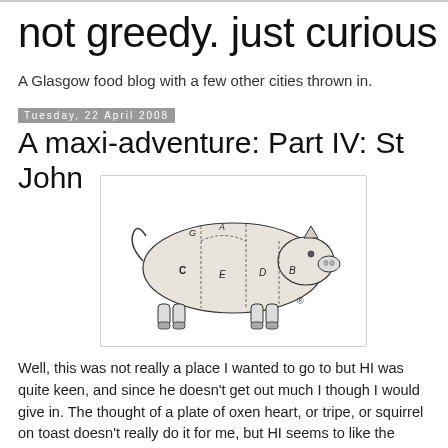not greedy. just curious
A Glasgow food blog with a few other cities thrown in.
Tuesday, 22 April 2008
A maxi-adventure: Part IV: St John
[Figure (illustration): Vintage illustration of a pig with butcher cut labels C, A, E, D, B marked on different sections, with a registered trademark symbol]
Well, this was not really a place I wanted to go to but HI was quite keen, and since he doesn't get out much I though I would give in. The thought of a plate of oxen heart, or tripe, or squirrel on toast doesn't really do it for me, but HI seems to like the idea. I think he really is the curious eater.